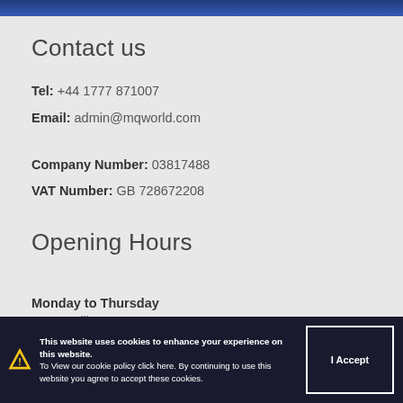Contact us
Tel: +44 1777 871007
Email: admin@mqworld.com
Company Number: 03817488
VAT Number: GB 728672208
Opening Hours
Monday to Thursday
9.00am till 5.00pm
Friday
9.00am till 5.00pm
This website uses cookies to enhance your experience on this website. To View our cookie policy click here. By continuing to use this website you agree to accept these cookies.